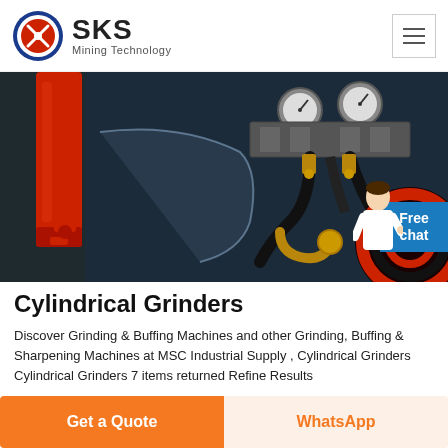[Figure (logo): SKS Mining Technology logo with red circle emblem and company name]
[Figure (photo): Industrial cylindrical grinder machine parts showing red hydraulic cylinders, black hoses, brass fittings, and pressure gauges on dark machinery body]
Cylindrical Grinders
Discover Grinding & Buffing Machines and other Grinding, Buffing & Sharpening Machines at MSC Industrial Supply , Cylindrical Grinders Cylindrical Grinders 7 items returned Refine Results
Get a Quote
WhatsApp